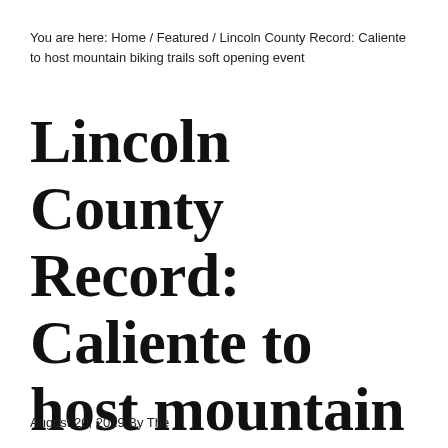You are here: Home / Featured / Lincoln County Record: Caliente to host mountain biking trails soft opening event
Lincoln County Record: Caliente to host mountain biking trails soft opening event
August 20, 2019 By The